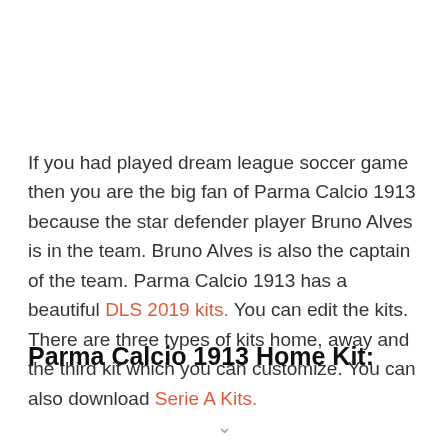If you had played dream league soccer game then you are the big fan of Parma Calcio 1913 because the star defender player Bruno Alves is in the team. Bruno Alves is also the captain of the team. Parma Calcio 1913 has a beautiful DLS 2019 kits. You can edit the kits. There are three types of kits home, away and the third kit which you can customize. You can also download Serie A Kits.
Parma Calcio 1913 Home Kit: